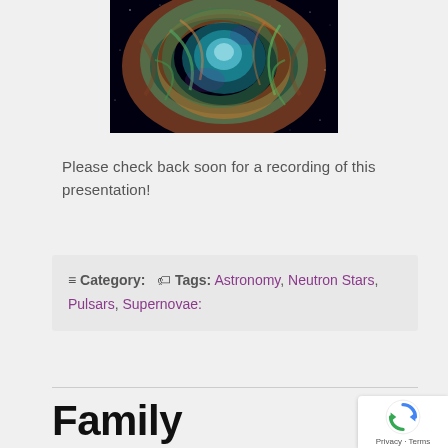[Figure (photo): Space nebula photograph showing colorful gas clouds (green, orange, purple) against a black background — likely the Crab Nebula]
Please check back soon for a recording of this presentation!
≡ Category:  Tags: Astronomy, Neutron Stars, Pulsars, Supernovae:
Family Astronomy Night, Wednesday